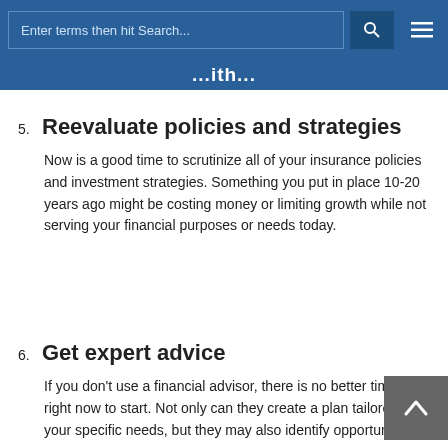Enter terms then hit Search...
...ith...
5. Reevaluate policies and strategies
Now is a good time to scrutinize all of your insurance policies and investment strategies. Something you put in place 10-20 years ago might be costing money or limiting growth while not serving your financial purposes or needs today.
6. Get expert advice
If you don't use a financial advisor, there is no better time than right now to start. Not only can they create a plan tailored to your specific needs, but they may also identify opportunities